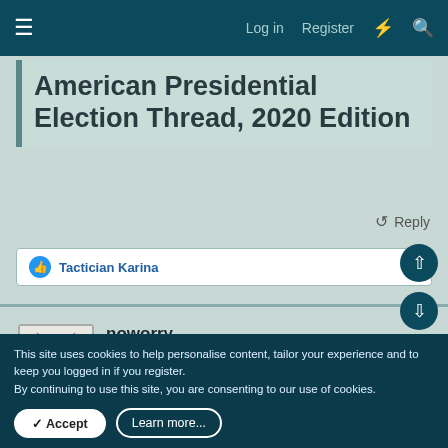Log in  Register
American Presidential Election Thread, 2020 Edition
Reply
Tactician Karina
noworry
··☆StaR☆··
[Figure (other): FORMER ART DIRECTOR badge with rainbow gradient background]
[Figure (other): RETIRED STAFF badge with grey/blue background]
[Figure (photo): User avatar showing a sketch of a cat]
This site uses cookies to help personalise content, tailor your experience and to keep you logged in if you register.
By continuing to use this site, you are consenting to our use of cookies.
Accept
Learn more...